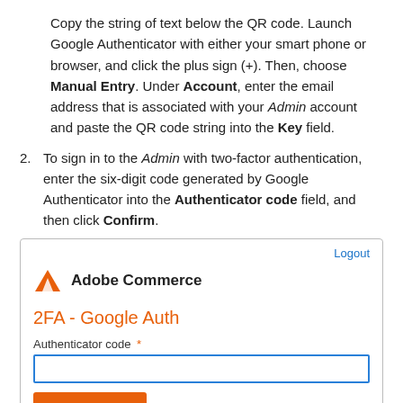Copy the string of text below the QR code. Launch Google Authenticator with either your smart phone or browser, and click the plus sign (+). Then, choose Manual Entry. Under Account, enter the email address that is associated with your Admin account and paste the QR code string into the Key field.
2. To sign in to the Admin with two-factor authentication, enter the six-digit code generated by Google Authenticator into the Authenticator code field, and then click Confirm.
[Figure (screenshot): Adobe Commerce 2FA - Google Auth login panel with Authenticator code input field and Logout link]